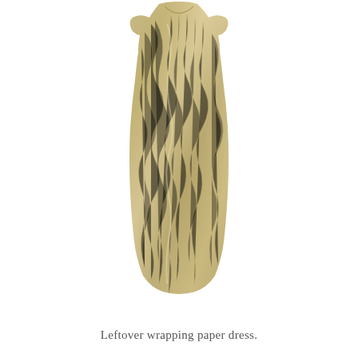[Figure (photo): A metallic silver-gold wrapping paper dress on a white background, shaped like a fitted sheath dress with cap sleeves, made from crinkled metallic wrapping paper.]
Leftover wrapping paper dress.